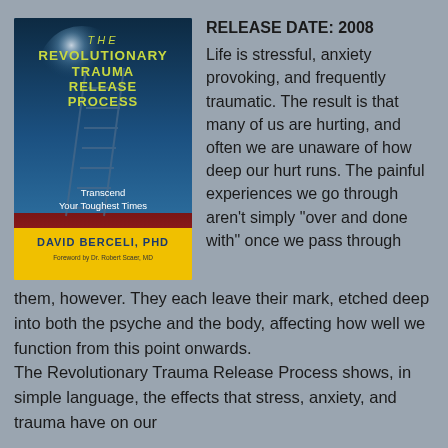[Figure (illustration): Book cover of 'The Revolutionary Trauma Release Process: Transcend Your Toughest Times' by David Berceli, PhD. Foreword by Dr. Robert Scaer, MD. Dark blue and red background with a ladder image, yellow bottom band with author name.]
RELEASE DATE: 2008
Life is stressful, anxiety provoking, and frequently traumatic. The result is that many of us are hurting, and often we are unaware of how deep our hurt runs. The painful experiences we go through aren't simply "over and done with" once we pass through them, however. They each leave their mark, etched deep into both the psyche and the body, affecting how well we function from this point onwards. The Revolutionary Trauma Release Process shows, in simple language, the effects that stress, anxiety, and trauma have on our